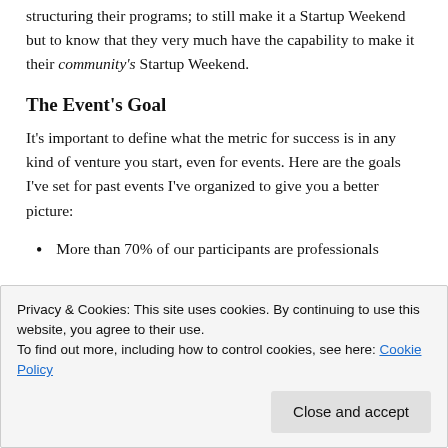structuring their programs; to still make it a Startup Weekend but to know that they very much have the capability to make it their community's Startup Weekend.
The Event's Goal
It's important to define what the metric for success is in any kind of venture you start, even for events. Here are the goals I've set for past events I've organized to give you a better picture:
More than 70% of our participants are professionals
Privacy & Cookies: This site uses cookies. By continuing to use this website, you agree to their use.
To find out more, including how to control cookies, see here: Cookie Policy
Close and accept